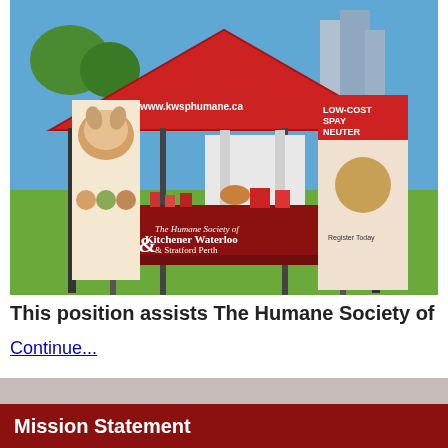[Figure (photo): Outdoor event booth for The Humane Society of Kitchener Waterloo & Stratford Perth. A red tent with the website www.kwsphumane.ca visible, red tablecloth with the organization's logo, pull-up banners including a dog/cat banner and a Low-Cost Spay Neuter Clinic banner, display items on table, set on a grass field.]
This position assists The Humane Society of
Continue...
Mission Statement